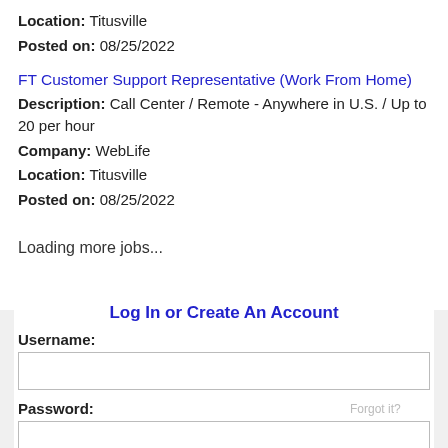Location: Titusville
Posted on: 08/25/2022
FT Customer Support Representative (Work From Home)
Description: Call Center / Remote - Anywhere in U.S. / Up to 20 per hour
Company: WebLife
Location: Titusville
Posted on: 08/25/2022
Loading more jobs...
Log In or Create An Account
Username:
Password: